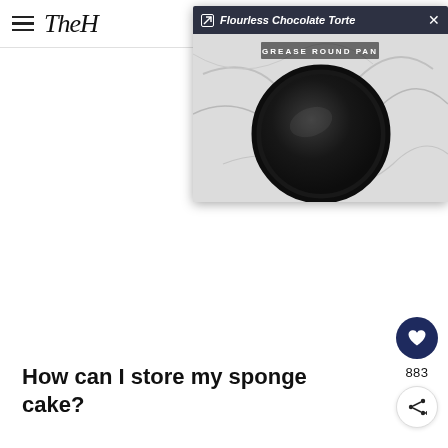TheH
[Figure (screenshot): Popup overlay for video titled 'Flourless Chocolate Torte' showing a greased round baking pan on a marble surface with text 'GREASE ROUND PAN' overlaid. Has expand icon, title bar, and close button.]
[Figure (other): Three loading dots placeholder in the center of the page]
How can I store my sponge cake?